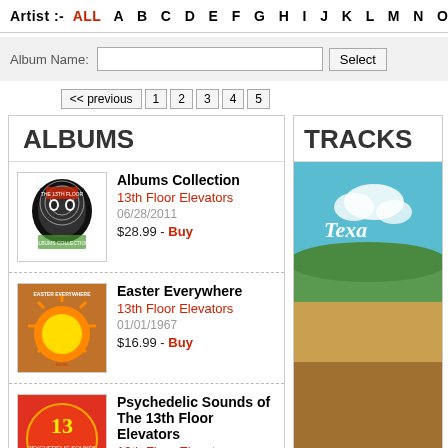Artist :- ALL  A  B  C  D  E  F  G  H  I  J  K  L  M  N  O  P  Q  R  S  T
Album Name:
<< previous  1  2  3  4  5
ALBUMS
Albums Collection
13th Floor Elevators
06/28/2011
$28.99 - Buy
Easter Everywhere
13th Floor Elevators
01/01/1967
$16.99 - Buy
Psychedelic Sounds of The 13th Floor Elevators
13th Floor Elevators
TRACKS